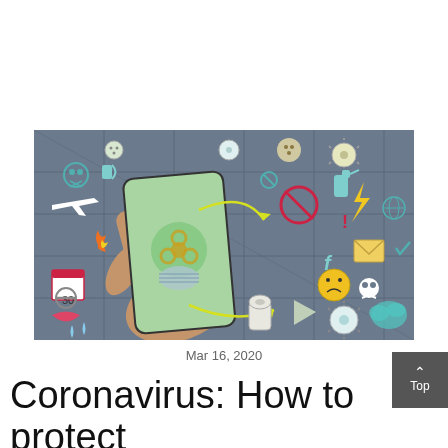[Figure (illustration): Colorful illustration of a hand holding a smartphone with various coronavirus-related icons floating around it including virus particles, masks, toilet paper, airplane, biohazard symbol, skull and crossbones, prohibition sign, email, fire, calendar showing 30, lips, water drops, and other warning symbols on a dark grid/tile background.]
Mar 16, 2020
Coronavirus: How to protect